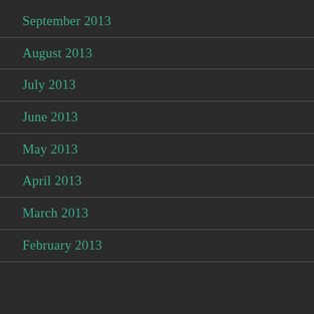September 2013
August 2013
July 2013
June 2013
May 2013
April 2013
March 2013
February 2013